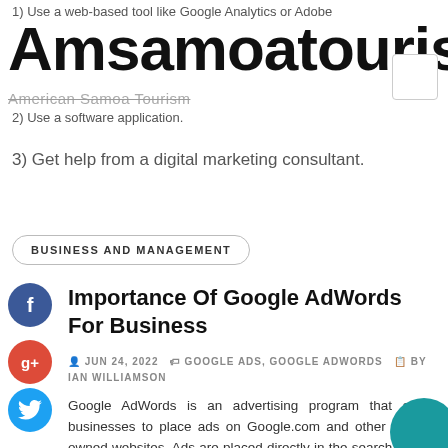1) Use a web-based tool like Google Analytics or Adobe
Amsamoatourism
American Samoa Tourism
2) Use a software application.
3) Get help from a digital marketing consultant.
BUSINESS AND MANAGEMENT
Importance Of Google AdWords For Business
JUN 24, 2022   GOOGLE ADS, GOOGLE ADWORDS   BY IAN WILLIAMSON
Google AdWords is an advertising program that allows businesses to place ads on Google.com and other Google-owned websites. Ads are placed directly in the search results, which means